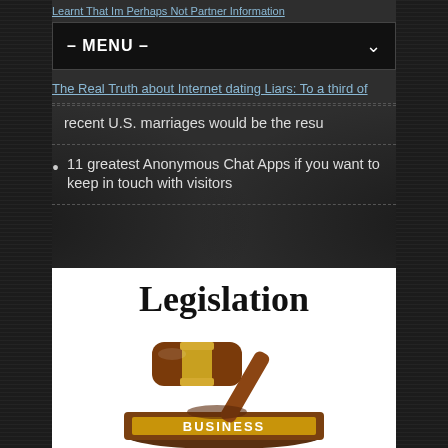Learnt That Im Perhaps Not Partner Information
The Real Truth about Internet dating Liars: To a third of
recent U.S. marriages would be the resu
11 greatest Anonymous Chat Apps if you want to keep in touch with visitors
[Figure (illustration): White card with bold 'Legislation' title at the top and a brown wooden judge's gavel resting on a sound block labeled 'BUSINESS' in gold letters, on a white background.]